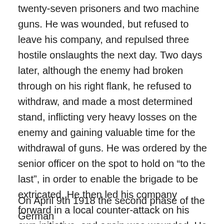twenty-seven prisoners and two machine guns. He was wounded, but refused to leave his company, and repulsed three hostile onslaughts the next day. Two days later, although the enemy had broken through on his right flank, he refused to withdraw, and made a most determined stand, inflicting very heavy losses on the enemy and gaining valuable time for the withdrawal of guns. He was ordered by the senior officer on the spot to hold on “to the last”, in order to enable the brigade to be extricated. He then led his company forward in a local counter-attack on his own initiative, and again was wounded. He was last seen working a machine-gun single-handed, after having been wounded a third time. No praise can be too high for the gallant stand made by this company, and Capt. James, by his dauntless courage and magnificent example, which undoubtedly enabled the battalion to be withdrawn before being completely cut off.”
On April 9th 1918 the second phase of the German